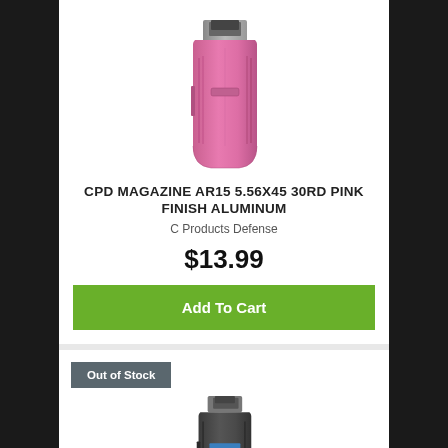[Figure (photo): Pink aluminum AR-15 magazine product photo on white background]
CPD MAGAZINE AR15 5.56X45 30RD PINK FINISH ALUMINUM
C Products Defense
$13.99
Add To Cart
Out of Stock
[Figure (photo): Dark/black aluminum AR-15 magazine with blue follower, product photo, partially visible]